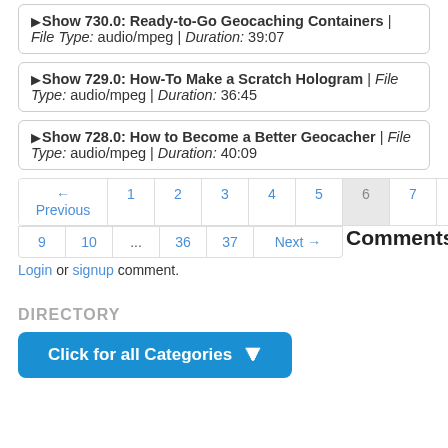▶Show 730.0: Ready-to-Go Geocaching Containers | File Type: audio/mpeg | Duration: 39:07
▶Show 729.0: How-To Make a Scratch Hologram | File Type: audio/mpeg | Duration: 36:45
▶Show 728.0: How to Become a Better Geocacher | File Type: audio/mpeg | Duration: 40:09
← Previous 1 2 3 4 5 6 7 8 9 10 ... 36 37 Next →
Comments
Login or signup comment.
DIRECTORY
Click for all Categories ▼